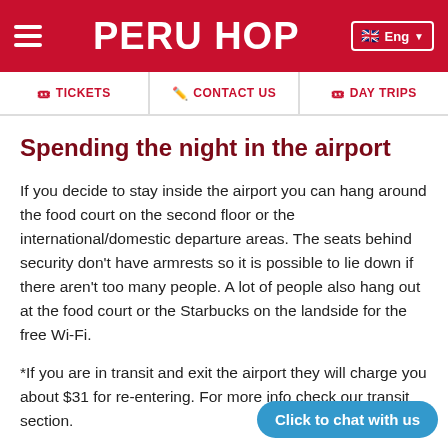PERU HOP
Spending the night in the airport
If you decide to stay inside the airport you can hang around the food court on the second floor or the international/domestic departure areas. The seats behind security don't have armrests so it is possible to lie down if there aren't too many people. A lot of people also hang out at the food court or the Starbucks on the landside for the free Wi-Fi.
*If you are in transit and exit the airport they will charge you about $31 for re-entering. For more info check our transit section.